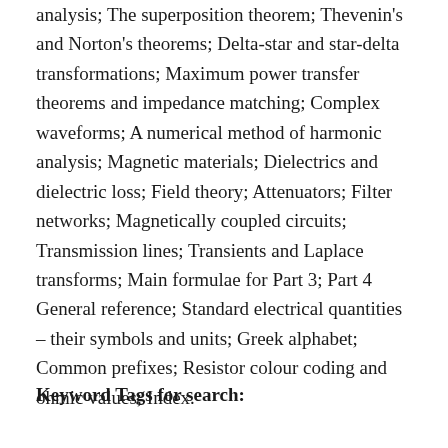analysis; The superposition theorem; Thevenin's and Norton's theorems; Delta-star and star-delta transformations; Maximum power transfer theorems and impedance matching; Complex waveforms; A numerical method of harmonic analysis; Magnetic materials; Dielectrics and dielectric loss; Field theory; Attenuators; Filter networks; Magnetically coupled circuits; Transmission lines; Transients and Laplace transforms; Main formulae for Part 3; Part 4 General reference; Standard electrical quantities – their symbols and units; Greek alphabet; Common prefixes; Resistor colour coding and ohmic values; Index.
Keyword Tags for search: